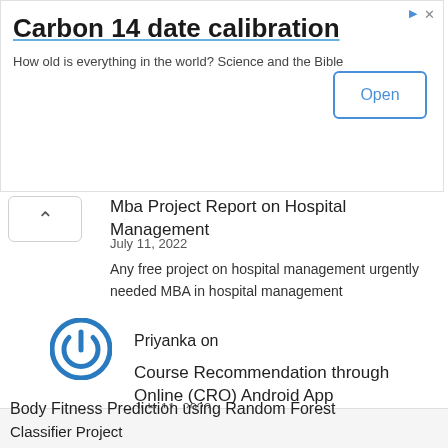[Figure (screenshot): Advertisement banner: Carbon 14 date calibration app ad with Open button]
Mba Project Report on Hospital Management
July 11, 2022
Any free project on hospital management urgently needed MBA in hospital management
Priyanka on
Course Recommendation through Online (CRO) Android App
July 11, 2022
Can you please share the source code?
Body Fitness Prediction using Random Forest Classifier Project